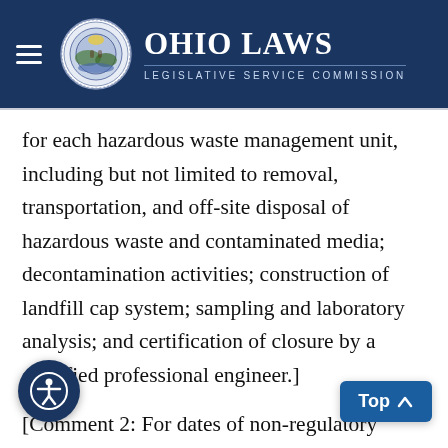Ohio Laws - Legislative Service Commission
for each hazardous waste management unit, including but not limited to removal, transportation, and off-site disposal of hazardous waste and contaminated media; decontamination activities; construction of landfill cap system; sampling and laboratory analysis; and certification of closure by a qualified professional engineer.]
[Comment 2: For dates of non-regulatory government publications, publications of recognized organizations and associations, f